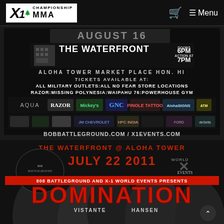X1 Championship MMA — Navigation bar with cart and menu
[Figure (photo): MMA event promotional page showing two posters: top poster for an event at The Waterfront, Aloha Tower Market Place Honolulu HI, doors 6PM action 7PM, tickets at all military outlets, all No Fear store locations, Razor, Missing Polynesia, Waipahu 76, Powerhouse Gym. Sponsors include Aqua, Razor, Mickey's, GNC, Pinole Tattoo, Aloha Signs, and others. Website: bobbattleground.com / x1events.com. Bottom poster: 808 Battleground and X-1 World Events presents DOMINATION at The Waterfront @ Aloha Tower, July 22 2011, featuring fighters Vistante and Hansen.]